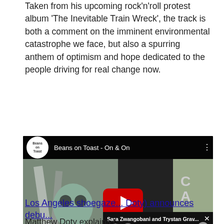Taken from his upcoming rock'n'roll protest album 'The Inevitable Train Wreck', the track is both a comment on the imminent environmental catastrophe we face, but also a spurring anthem of optimism and hope dedicated to the people driving for real change now.
[Figure (screenshot): Embedded YouTube video player showing 'Beans on Toast - On & On' with play button overlay, and a notification overlay showing 'Sara Zwangobani and Trystan Grav...' with a group photo and mute button]
Los Angeles shoegaze... Doty) announces debu...
Matthew Doty explains t...